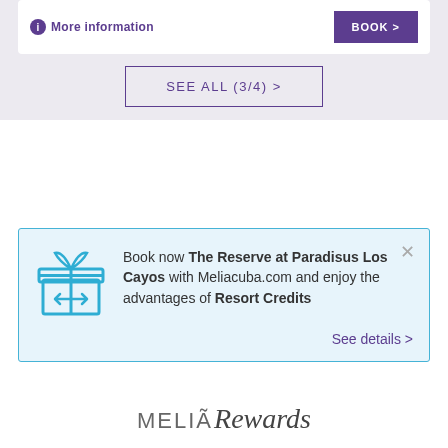More information
BOOK >
SEE ALL (3/4) >
Book now The Reserve at Paradisus Los Cayos with Meliacuba.com and enjoy the advantages of Resort Credits
See details >
MELIÃ Rewards